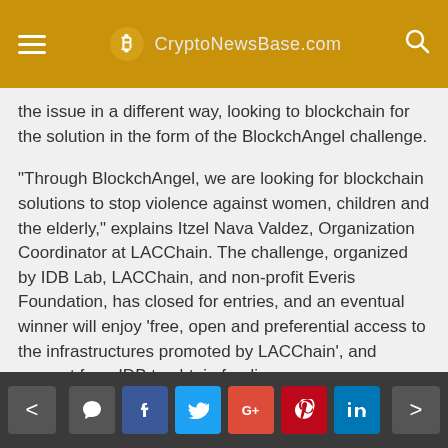CryptoNewsBase.com
the issue in a different way, looking to blockchain for the solution in the form of the BlockchAngel challenge.
“Through BlockchAngel, we are looking for blockchain solutions to stop violence against women, children and the elderly,” explains Itzel Nava Valdez, Organization Coordinator at LACChain. The challenge, organized by IDB Lab, LACChain, and non-profit Everis Foundation, has closed for entries, and an eventual winner will enjoy ‘free, open and preferential access to the infrastructures promoted by LACChain’, and support from IDB to obtain funding.
Itzel continues: “The challenge can involve
< comment f t G+ p in >